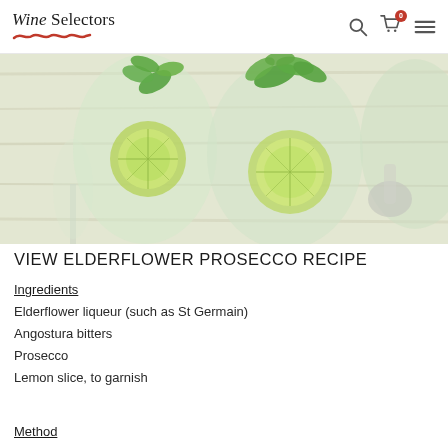Wine Selectors
[Figure (photo): Photo of wine glasses filled with elderflower prosecco cocktails with lime slices and fresh mint garnish on a white wooden surface]
VIEW ELDERFLOWER PROSECCO RECIPE
Ingredients
Elderflower liqueur (such as St Germain)
Angostura bitters
Prosecco
Lemon slice, to garnish
Method